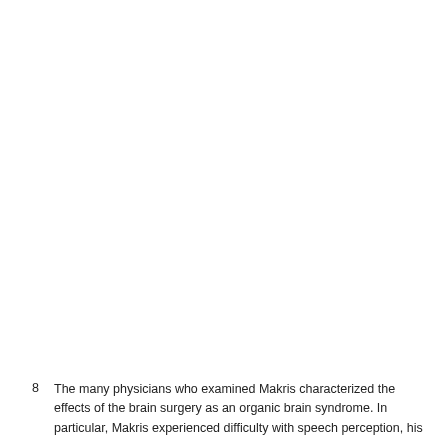8   The many physicians who examined Makris characterized the effects of the brain surgery as an organic brain syndrome. In particular, Makris experienced difficulty with speech perception, his